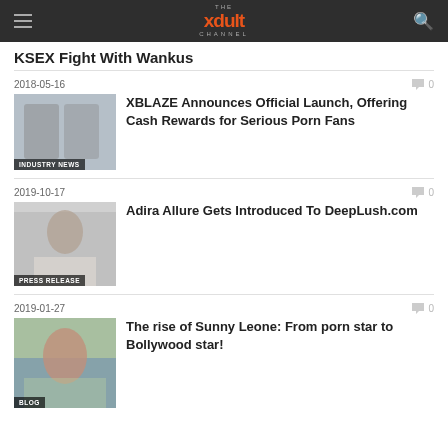THE xdult CHANNEL
KSEX Fight With Wankus
2018-05-16
XBLAZE Announces Official Launch, Offering Cash Rewards for Serious Porn Fans
2019-10-17
Adira Allure Gets Introduced To DeepLush.com
2019-01-27
The rise of Sunny Leone: From porn star to Bollywood star!